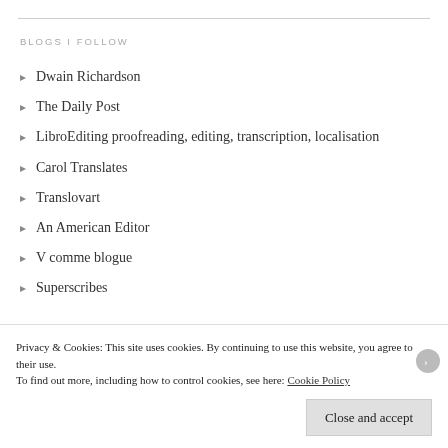BLOGS I FOLLOW
Dwain Richardson
The Daily Post
LibroEditing proofreading, editing, transcription, localisation
Carol Translates
Translovart
An American Editor
V comme blogue
Superscribes
Privacy & Cookies: This site uses cookies. By continuing to use this website, you agree to their use.
To find out more, including how to control cookies, see here: Cookie Policy